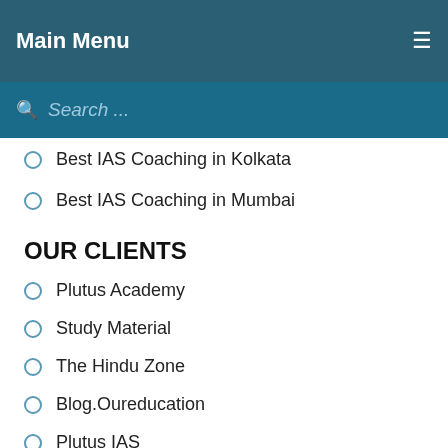Main Menu
Search ...
Best IAS Coaching in Kolkata
Best IAS Coaching in Mumbai
OUR CLIENTS
Plutus Academy
Study Material
The Hindu Zone
Blog.Oureducation
Plutus IAS
Return Policy